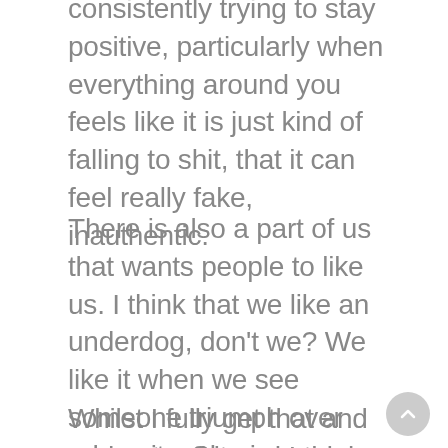consistently trying to stay positive, particularly when everything around you feels like it is just kind of falling to shit, that it can feel really fake, inauthentic.
There is also a part of us that wants people to like us. I think that we like an underdog, don't we? We like it when we see someone triumph over adversity. Sharing our adversity with people makes us a bit more likable and relatable.
Whilst I fully get that and understand it and I think that it's really important to be authentic and